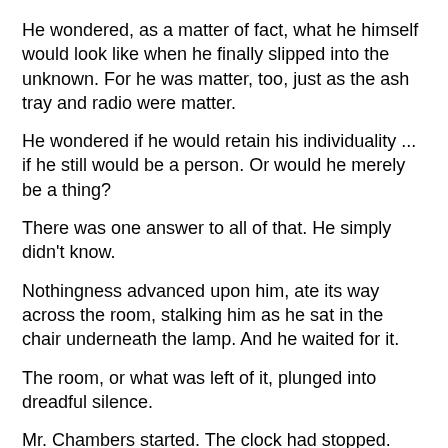He wondered, as a matter of fact, what he himself would look like when he finally slipped into the unknown. For he was matter, too, just as the ash tray and radio were matter.
He wondered if he would retain his individuality ... if he still would be a person. Or would he merely be a thing?
There was one answer to all of that. He simply didn't know.
Nothingness advanced upon him, ate its way across the room, stalking him as he sat in the chair underneath the lamp. And he waited for it.
The room, or what was left of it, plunged into dreadful silence.
Mr. Chambers started. The clock had stopped. Funny ... the first time in twenty years.
He leaped from his chair and then sat down again.
The clock hadn't stopped.
It wasn't there.
There was a tingling sensation in his feet.